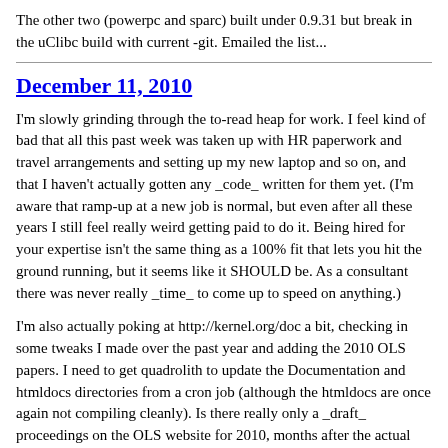The other two (powerpc and sparc) built under 0.9.31 but break in the uClibc build with current -git. Emailed the list...
December 11, 2010
I'm slowly grinding through the to-read heap for work. I feel kind of bad that all this past week was taken up with HR paperwork and travel arrangements and setting up my new laptop and so on, and that I haven't actually gotten any _code_ written for them yet. (I'm aware that ramp-up at a new job is normal, but even after all these years I still feel really weird getting paid to do it. Being hired for your expertise isn't the same thing as a 100% fit that lets you hit the ground running, but it seems like it SHOULD be. As a consultant there was never really _time_ to come up to speed on anything.)
I'm also actually poking at http://kernel.org/doc a bit, checking in some tweaks I made over the past year and adding the 2010 OLS papers. I need to get quadrolith to update the Documentation and htmldocs directories from a cron job (although the htmldocs are once again not compiling cleanly). Is there really only a _draft_ proceedings on the OLS website for 2010, months after the actual conference happened? (One which has the abstract for the Open